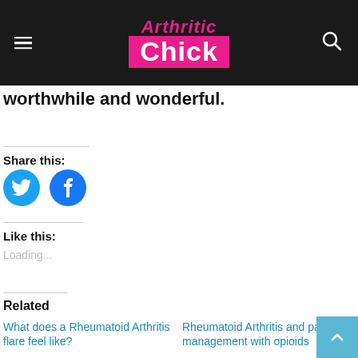Arthritic Chick
worthwhile and wonderful.
Share this:
[Figure (other): Twitter and Facebook social share circular icon buttons]
Like this:
Loading...
Related
What does a Rheumatoid Arthritis flare feel like?
Rheumatoid Arthritis and pain management with opioids